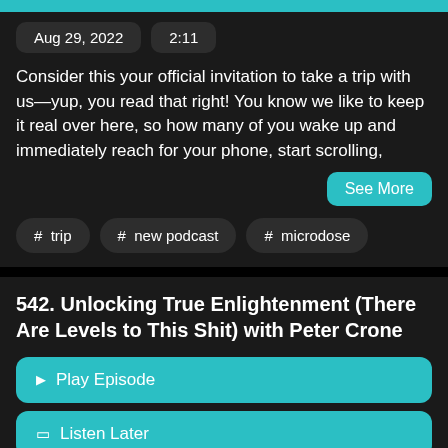Aug 29, 2022   2:11
Consider this your official invitation to take a trip with us—yup, you read that right! You know we like to keep it real over here, so how many of you wake up and immediately reach for your phone, start scrolling,
See More
# trip   # new podcast   # microdose
542. Unlocking True Enlightenment (There Are Levels to This Shit) with Peter Crone
▶ Play Episode
Listen Later